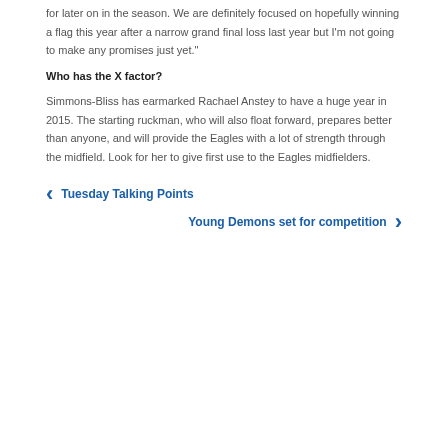for later on in the season. We are definitely focused on hopefully winning a flag this year after a narrow grand final loss last year but I'm not going to make any promises just yet."
Who has the X factor?
Simmons-Bliss has earmarked Rachael Anstey to have a huge year in 2015. The starting ruckman, who will also float forward, prepares better than anyone, and will provide the Eagles with a lot of strength through the midfield. Look for her to give first use to the Eagles midfielders.
Tuesday Talking Points
Young Demons set for competition